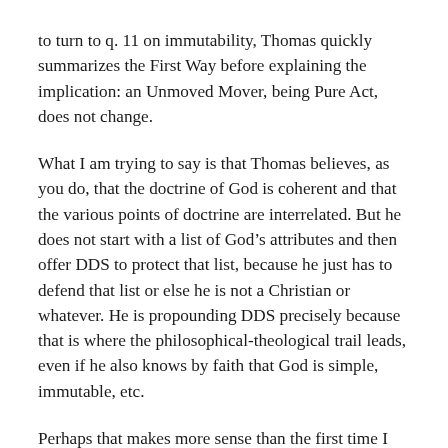to turn to q. 11 on immutability, Thomas quickly summarizes the First Way before explaining the implication: an Unmoved Mover, being Pure Act, does not change.
What I am trying to say is that Thomas believes, as you do, that the doctrine of God is coherent and that the various points of doctrine are interrelated. But he does not start with a list of God’s attributes and then offer DDS to protect that list, because he just has to defend that list or else he is not a Christian or whatever. He is propounding DDS precisely because that is where the philosophical-theological trail leads, even if he also knows by faith that God is simple, immutable, etc.
Perhaps that makes more sense than the first time I commented, though I have now had to write a much longer comment.